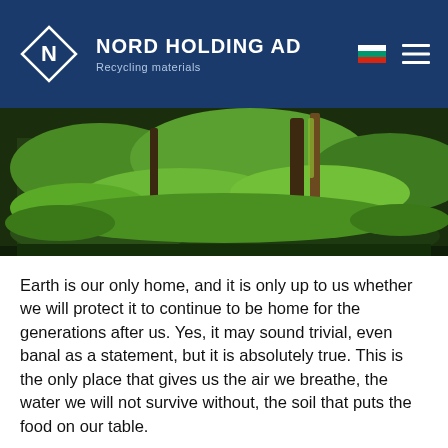NORD HOLDING AD — Recycling materials
[Figure (photo): Forest floor covered with green moss and ferns, with tree trunks visible]
Earth is our only home, and it is only up to us whether we will protect it to continue to be home for the generations after us. Yes, it may sound trivial, even banal as a statement, but it is absolutely true. This is the only place that gives us the air we breathe, the water we will not survive without, the soil that puts the food on our table.
Unfortunately, as technology advances, with the many scientific discoveries and knowledge we have